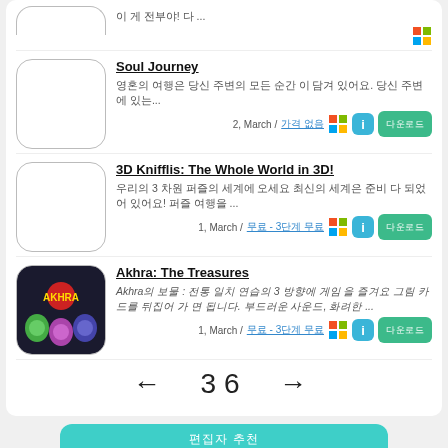이 게 전부야! 다 ...
Soul Journey
영혼의 여행은 당신 주변의 모든 순간 이 담겨 있어요. 당신 주변에 있는...
2, March / 가격 없음
3D Knifflis: The Whole World in 3D!
우리의 3 차원 퍼즐의 세계에 오세요 최신의 세계은 준비 다 되었 어 있어요! 퍼즐 여행을 ...
1, March / 무료 - 3단계 무료
Akhra: The Treasures
Akhra의 보물 : 전통 일치 연습의 3 방향에 게임 을 즐겨요 그림 카드를 뒤집어 가 면 됩니다. 부드러운 사운드, 화려한 ...
1, March / 무료 - 3단계 무료
← 36 →
편집자 추천
ANVIL
앱에 대한 설명